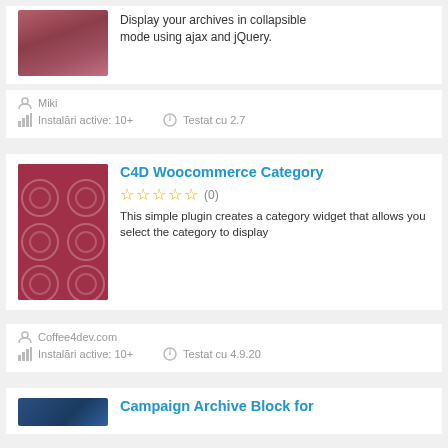Display your archives in collapsible mode using ajax and jQuery.
Miki
Instalări active: 10+
Testat cu 2.7
C4D Woocommerce Category
(0)
This simple plugin creates a category widget that allows you select the category to display
Coffee4dev.com
Instalări active: 10+
Testat cu 4.9.20
Campaign Archive Block for